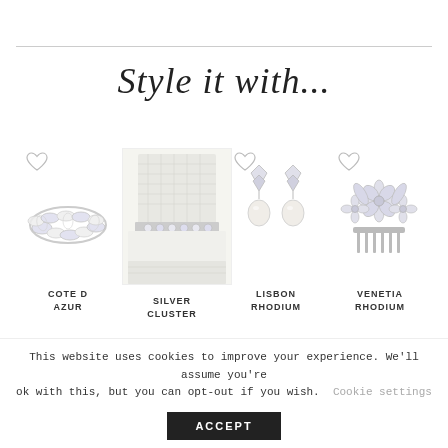Style it with...
[Figure (photo): COTE D AZUR - crystal bracelet jewelry product image with heart wishlist icon]
[Figure (photo): SILVER CLUSTER - white lace dress with crystal belt sash product image]
[Figure (photo): LISBON RHODIUM - pearl drop earrings with crystal tops product image with heart wishlist icon]
[Figure (photo): VENETIA RHODIUM - crystal flower hair comb product image with heart wishlist icon]
COTE D AZUR
SILVER CLUSTER
LISBON RHODIUM
VENETIA RHODIUM
This website uses cookies to improve your experience. We'll assume you're ok with this, but you can opt-out if you wish. Cookie settings
ACCEPT